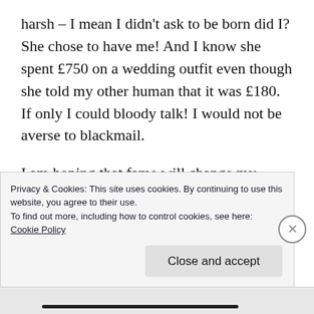harsh – I mean I didn't ask to be born did I? She chose to have me! And I know she spent £750 on a wedding outfit even though she told my other human that it was £180. If only I could bloody talk! I would not be averse to blackmail.
I am hoping that fame will change my fortunes. My human and I wrote a book and we want it published. But to do that we need to get 300 people to buy it upfront. This is a big ask – but
Privacy & Cookies: This site uses cookies. By continuing to use this website, you agree to their use.
To find out more, including how to control cookies, see here:
Cookie Policy
Close and accept